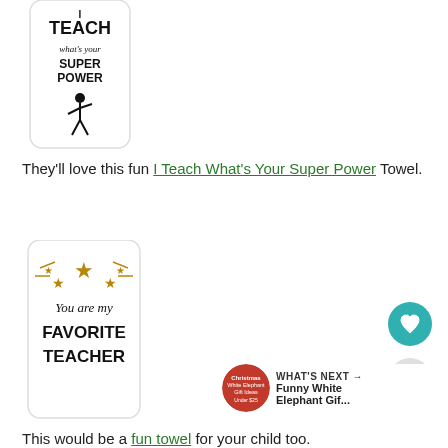[Figure (photo): White kitchen towel with text 'I TEACH what's your SUPER POWER' and a superhero figure illustration]
They'll love this fun I Teach What's Your Super Power Towel.
[Figure (photo): White kitchen towel with gold stars and text 'You are my FAVORITE TEACHER']
This would be a fun towel for your child too.